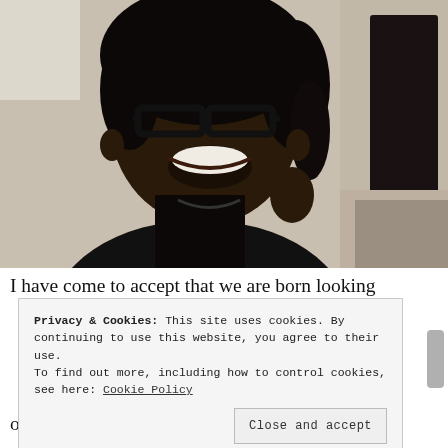[Figure (photo): A smiling woman with glasses and braided hair, wearing a black top, photographed indoors with furniture in the background.]
I have come to accept that we are born looking
Privacy & Cookies: This site uses cookies. By continuing to use this website, you agree to their use.
To find out more, including how to control cookies, see here: Cookie Policy

Close and accept
one else like me on earth.